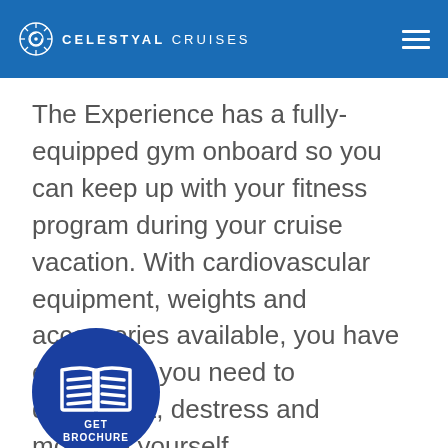CELESTYAL CRUISES
The Experience has a fully-equipped gym onboard so you can keep up with your fitness program during your cruise vacation. With cardiovascular equipment, weights and accessories available, you have everything you need to disconnect, destress and motivate yourself.
[Figure (illustration): Dark blue circular button with an open book icon and text 'GET BROCHURE' in white]